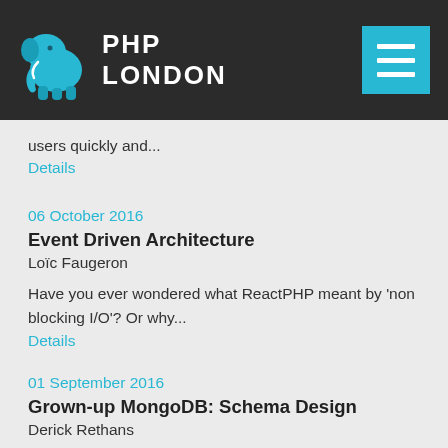PHP LONDON
users quickly and...
Details
06 October 2016
Event Driven Architecture
Loïc Faugeron
Have you ever wondered what ReactPHP meant by 'non blocking I/O'? Or why...
Details
01 September 2016
Grown-up MongoDB: Schema Design
Derick Rethans
Although MongoDB is a non-relational database, it is still very...